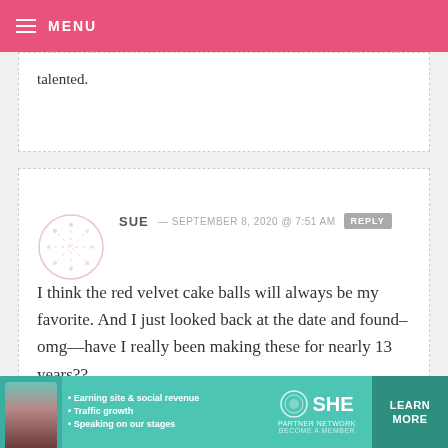MENU
talented.
SUE — SEPTEMBER 8, 2020 @ 7:51 AM
I think the red velvet cake balls will always be my favorite. And I just looked back at the date and found–omg—have I really been making these for nearly 13 years??

Sue
[Figure (infographic): SHE Partner Network advertisement banner with photo, bullet points, logo, and LEARN MORE button]